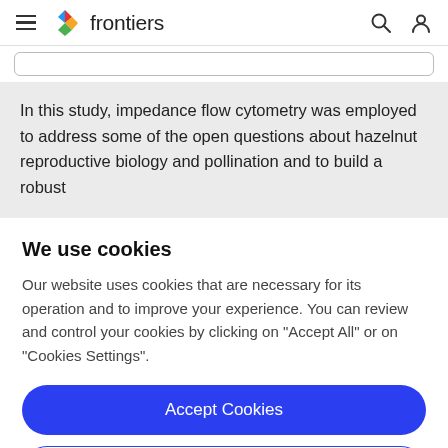frontiers
In this study, impedance flow cytometry was employed to address some of the open questions about hazelnut reproductive biology and pollination and to build a robust
We use cookies
Our website uses cookies that are necessary for its operation and to improve your experience. You can review and control your cookies by clicking on "Accept All" or on "Cookies Settings".
Accept Cookies
Cookies Settings